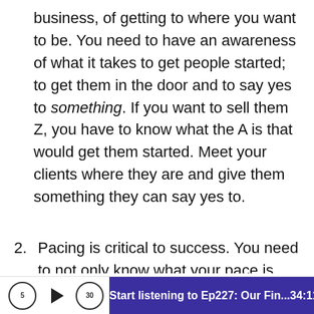business, of getting to where you want to be. You need to have an awareness of what it takes to get people started; to get them in the door and to say yes to something. If you want to sell them Z, you have to know what the A is that would get them started. Meet your clients where they are and give them something they can say yes to.
2. Pacing is critical to success. You need to not only know what your pace is, but what is important and what stake you are trying to claim at the moment. For different
Start listening to Ep227: Our Fin... 34:11